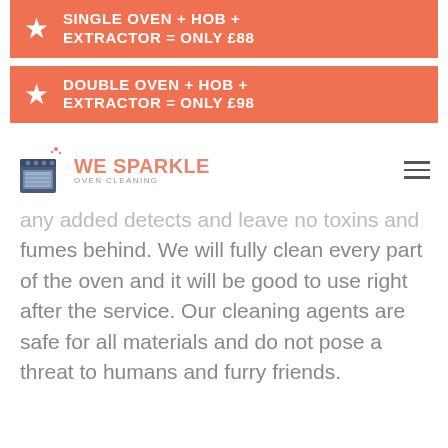[Figure (infographic): Orange banner with star icon: SINGLE OVEN + HOB + EXTRACTOR = ONLY £88]
[Figure (infographic): Orange banner with star icon: DOUBLE OVEN + HOB + EXTRACTOR = ONLY £98]
[Figure (logo): We Sparkle Oven Cleaning logo with oven icon and sparkle decoration]
any added detects and leave no toxins and fumes behind. We will fully clean every part of the oven and it will be good to use right after the service. Our cleaning agents are safe for all materials and do not pose a threat to humans and furry friends.